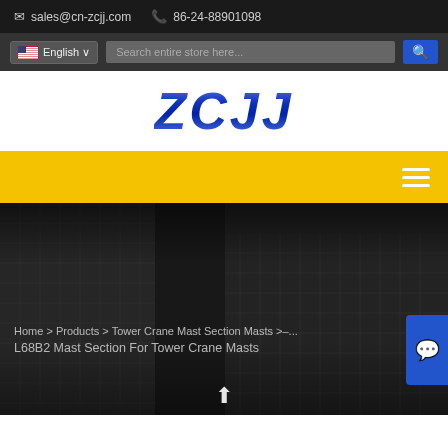sales@cn-zcjj.com  86-24-88901098
[Figure (screenshot): Language selector showing English with US flag and dropdown arrow, search bar with placeholder 'Search entire store here...' and blue search button]
[Figure (logo): ZCJJ brand logo in bold italic blue gradient text on white background]
[Figure (screenshot): Yellow navigation bar with hamburger menu icon (three white horizontal lines) on the right]
[Figure (photo): Black and white photo of tall glass office buildings viewed from below, used as hero background]
Home > Products > Tower Crane Mast Section Masts > ... L68B2 Mast Section For Tower Crane Masts